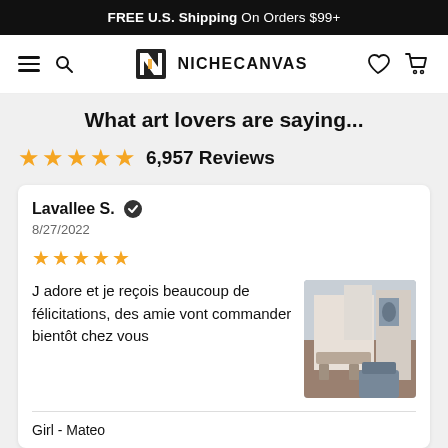FREE U.S. Shipping On Orders $99+
[Figure (logo): NicheCanvas logo with hamburger menu, search icon, heart icon, and cart icon in navigation bar]
What art lovers are saying...
6,957 Reviews
Lavallee S. ✓ verified
8/27/2022
★★★★★
J adore et je reçois beaucoup de félicitations,  des amie vont commander bientôt chez vous
Girl - Mateo